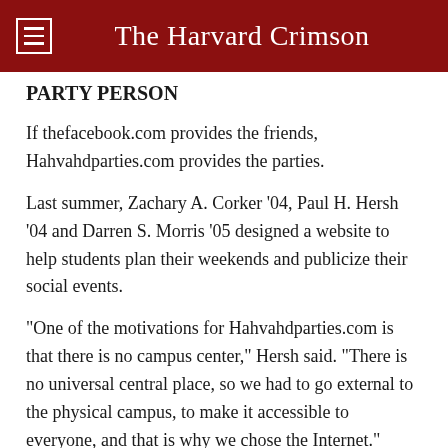The Harvard Crimson
PARTY PERSON
If thefacebook.com provides the friends, Hahvahdparties.com provides the parties.
Last summer, Zachary A. Corker '04, Paul H. Hersh '04 and Darren S. Morris '05 designed a website to help students plan their weekends and publicize their social events.
“One of the motivations for Hahvahdparties.com is that there is no campus center,” Hersh said. “There is no universal central place, so we had to go external to the physical campus, to make it accessible to everyone, and that is why we chose the Internet.”
Corker said that the site receives 600 unique visits per week and over 1,000 on the weekends.